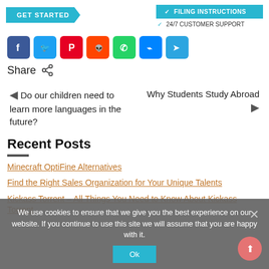GET STARTED
✓ FILING INSTRUCTIONS
✓ 24/7 CUSTOMER SUPPORT
[Figure (other): Social media share icons: Facebook, Twitter, Pinterest, Reddit, WhatsApp, Messenger, Telegram]
Share
Do our children need to learn more languages in the future?
Why Students Study Abroad
Recent Posts
Minecraft OptiFine Alternatives
Find the Right Sales Organization for Your Unique Talents
Kickass Torrent – All Things You Need to Know About Kickass Torrent
We use cookies to ensure that we give you the best experience on our website. If you continue to use this site we will assume that you are happy with it.